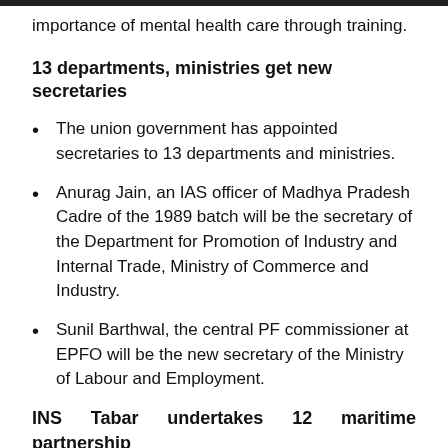importance of mental health care through training.
13 departments, ministries get new secretaries
The union government has appointed secretaries to 13 departments and ministries.
Anurag Jain, an IAS officer of Madhya Pradesh Cadre of the 1989 batch will be the secretary of the Department for Promotion of Industry and Internal Trade, Ministry of Commerce and Industry.
Sunil Barthwal, the central PF commissioner at EPFO will be the new secretary of the Ministry of Labour and Employment.
INS Tabar undertakes 12 maritime partnership